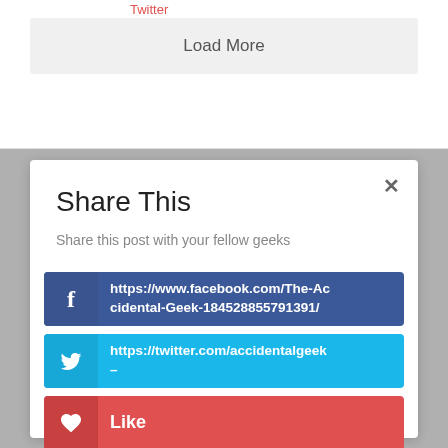Twitter
Load More
Share This
Share this post with your fellow geeks
https://www.facebook.com/The-Accidental-Geek-184528855791391/
https://twitter.com/accidentalgeek –
Like